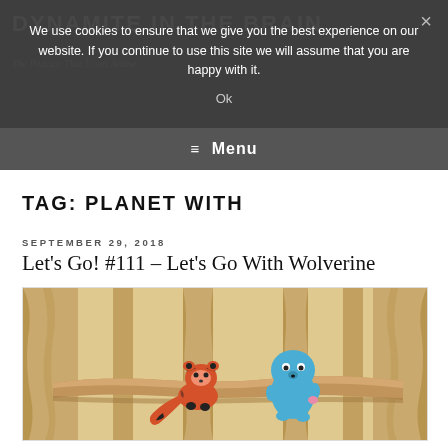DYNAMITE IN THE BRAIN
The Podcast That Loves Anime.
We use cookies to ensure that we give you the best experience on our website. If you continue to use this site we will assume that you are happy with it.
Ok
≡ Menu
TAG: PLANET WITH
SEPTEMBER 29, 2018
Let's Go! #111 – Let's Go With Wolverine
[Figure (illustration): Anime-style illustration showing two cartoon characters on a rocky ledge: a red panda on the left and a round blue creature on the right, set against a tan/brown canyon background.]